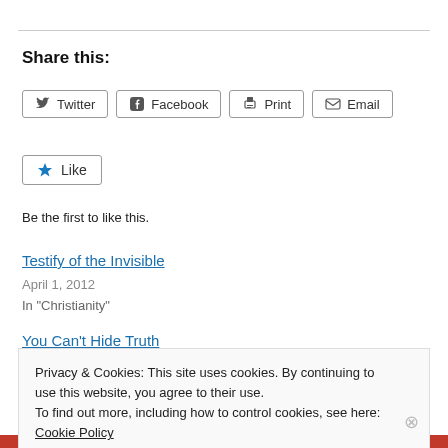Share this:
Twitter  Facebook  Print  Email
★ Like
Be the first to like this.
Testify of the Invisible
April 1, 2012
In "Christianity"
You Can't Hide Truth
Privacy & Cookies: This site uses cookies. By continuing to use this website, you agree to their use.
To find out more, including how to control cookies, see here: Cookie Policy
Close and accept